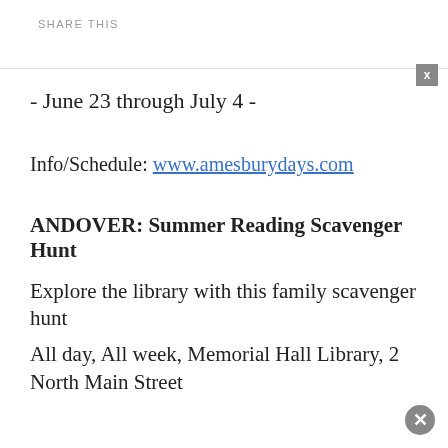SHARE THIS
- June 23 through July 4 -
Info/Schedule: www.amesburydays.com
ANDOVER: Summer Reading Scavenger Hunt
Explore the library with this family scavenger hunt
All day, All week, Memorial Hall Library, 2 North Main Street